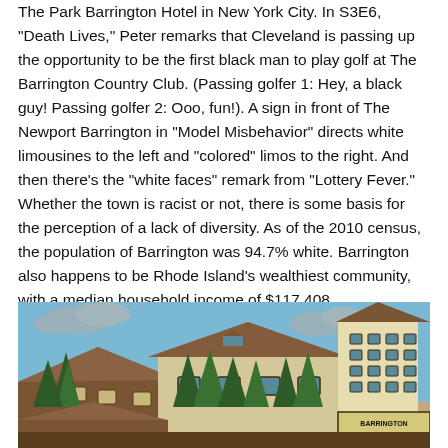The Park Barrington Hotel in New York City. In S3E6, "Death Lives," Peter remarks that Cleveland is passing up the opportunity to be the first black man to play golf at The Barrington Country Club. (Passing golfer 1: Hey, a black guy! Passing golfer 2: Ooo, fun!). A sign in front of The Newport Barrington in "Model Misbehavior" directs white limousines to the left and "colored" limos to the right. And then there's the "white faces" remark from "Lottery Fever." Whether the town is racist or not, there is some basis for the perception of a lack of diversity. As of the 2010 census, the population of Barrington was 94.7% white. Barrington also happens to be Rhode Island's wealthiest community, with a median household income of $117,408.
[Figure (illustration): Animated illustration showing a large building (possibly the Barrington Country Club or similar structure) with a steeply pitched dark brown roof with decorative trim, multiple dormer windows, and a tall right-side tower section. In front of and around the building are several tall dark green pine/fir trees. The sky is blue with grey clouds. The foreground shows rooftops and building facades in a cartoon/animated style consistent with the TV show Family Guy.]